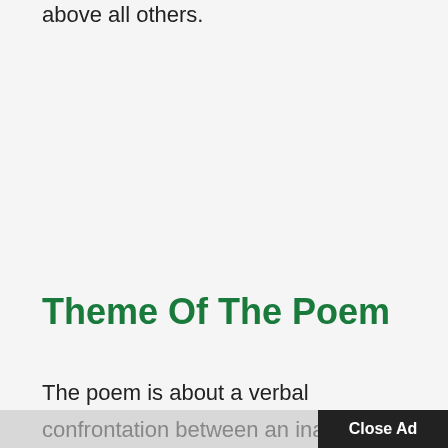above all others.
Theme Of The Poem
The poem is about a verbal
confrontation between an inanim